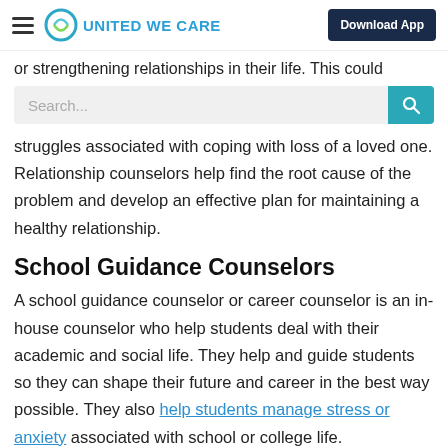United We Care — Download App
or strengthening relationships in their life. This could
Search...
struggles associated with coping with loss of a loved one. Relationship counselors help find the root cause of the problem and develop an effective plan for maintaining a healthy relationship.
School Guidance Counselors
A school guidance counselor or career counselor is an in-house counselor who help students deal with their academic and social life. They help and guide students so they can shape their future and career in the best way possible. They also help students manage stress or anxiety associated with school or college life.